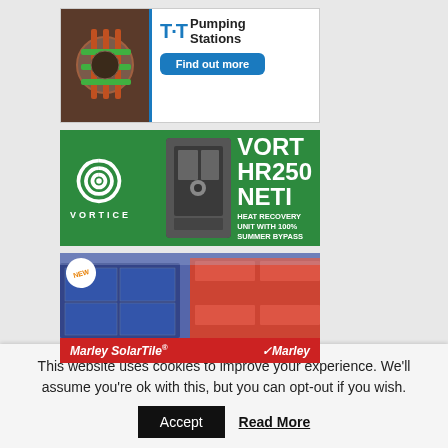[Figure (illustration): T-T Pumping Stations advertisement with product image, logo and Find out more button]
[Figure (illustration): Vortice VORT HR250 NETI Heat Recovery Unit advertisement on green background]
[Figure (illustration): Marley SolarTile advertisement showing solar panels on roof with red footer bar]
[Figure (photo): Partial bottom advertisement showing industrial/warehouse interior]
This website uses cookies to improve your experience. We'll assume you're ok with this, but you can opt-out if you wish.
Accept
Read More